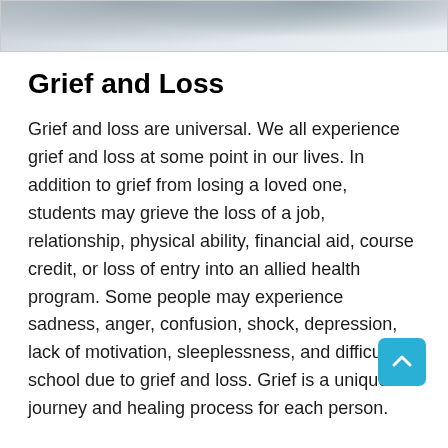[Figure (photo): Partial photo of people at top of page, cropped to show lower portion]
Grief and Loss
Grief and loss are universal. We all experience grief and loss at some point in our lives. In addition to grief from losing a loved one, students may grieve the loss of a job, relationship, physical ability, financial aid, course credit, or loss of entry into an allied health program. Some people may experience sadness, anger, confusion, shock, depression, lack of motivation, sleeplessness, and difficulty in school due to grief and loss. Grief is a unique journey and healing process for each person.